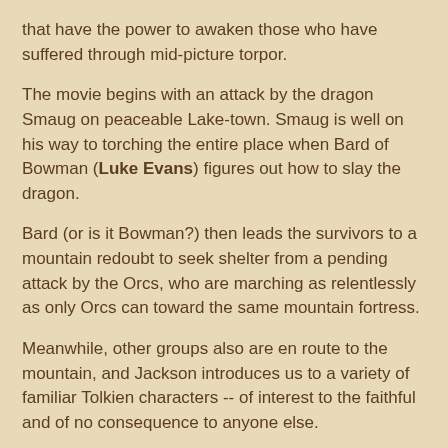that have the power to awaken those who have suffered through mid-picture torpor.
The movie begins with an attack by the dragon Smaug on peaceable Lake-town. Smaug is well on his way to torching the entire place when Bard of Bowman (Luke Evans) figures out how to slay the dragon.
Bard (or is it Bowman?) then leads the survivors to a mountain redoubt to seek shelter from a pending attack by the Orcs, who are marching as relentlessly as only Orcs can toward the same mountain fortress.
Meanwhile, other groups also are en route to the mountain, and Jackson introduces us to a variety of familiar Tolkien characters -- of interest to the faithful and of no consequence to anyone else.
Now, the dwarves already have occupied the mountain, which also contains an ungodly amount of treasure. Thorin (Richard Armitage) has taken charge of the dwarves and is busy orchestrating things for his own, ambitious ends.